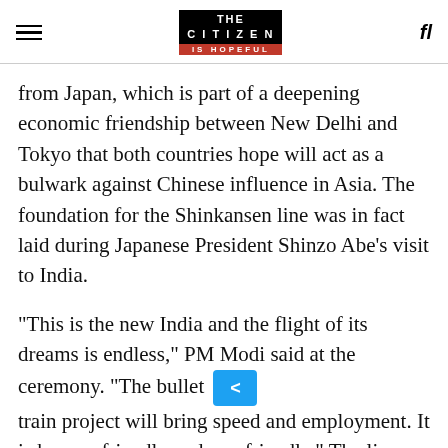THE CITIZEN IS HOPEFUL
from Japan, which is part of a deepening economic friendship between New Delhi and Tokyo that both countries hope will act as a bulwark against Chinese influence in Asia. The foundation for the Shinkansen line was in fact laid during Japanese President Shinzo Abe’s visit to India.
“This is the new India and the flight of its dreams is endless,” PM Modi said at the ceremony. “The bullet train project will bring speed and employment. It is human-friendly and eco-friendly.” The line will run from Ahmedabad to Gujarat, and is to be launched on August